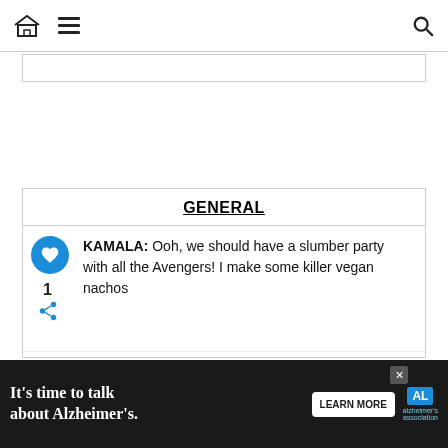Home | Menu | Search
[Figure (screenshot): Navigation bar with home icon, hamburger menu, and search icon]
GENERAL
KAMALA: Ooh, we should have a slumber party with all the Avengers! I make some killer vegan nachos
KAMALA: I've got two ears. What's eating you?
BRUCE BANNER: I worry that we made a mistake. That we... givable moral lapse by putting you in harms way
KAMALA: But you didn't put me in danger. I did. Long before you
[Figure (screenshot): What's Next promo with Marvel's Avengers thumbnail]
[Figure (infographic): Alzheimer's awareness ad: It's time to talk about Alzheimer's. Learn More button with Alzheimer's Association logo.]